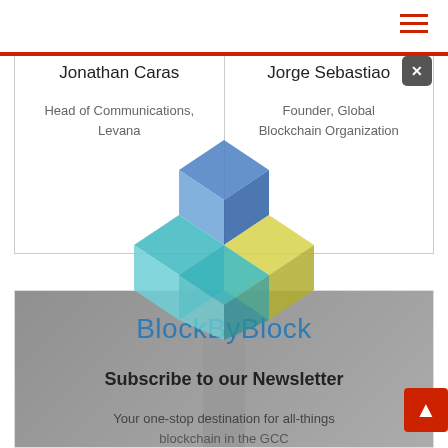Jonathan Caras
Head of Communications, Levana
Jorge Sebastiao
Founder, Global Blockchain Organization
[Figure (logo): BlockByBlock blockchain cube logo — interlocking hexagonal shapes in blue, teal, and yellow-green]
[Figure (photo): Newsletter section with two people (man on left, woman on right) and BlockByBlock logo overlay]
Subscribe to our Newsletter
Your one-stop destination for all-things blockchain in the GCC